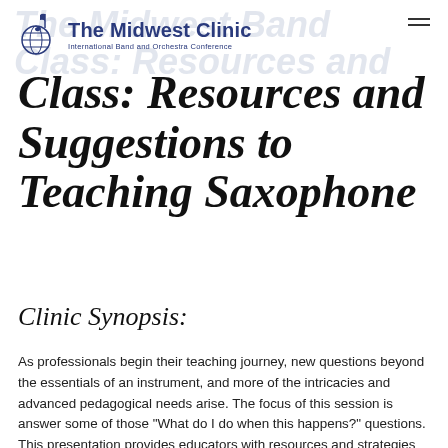The Midwest Clinic — International Band and Orchestra Conference
Class: Resources and Suggestions to Teaching Saxophone
Clinic Synopsis:
As professionals begin their teaching journey, new questions beyond the essentials of an instrument, and more of the intricacies and advanced pedagogical needs arise. The focus of this session is answer some of those "What do I do when this happens?" questions. This presentation provides educators with resources and strategies for teaching young saxophonists (Grade 6-12).